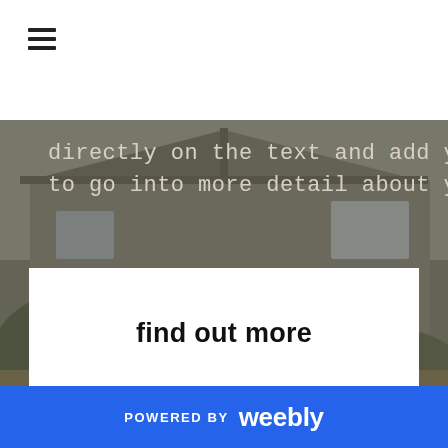[Figure (screenshot): Hamburger menu icon (three horizontal lines) in top-left of white navigation bar]
[Figure (photo): Background photo of a house with grey siding, roofline, and overgrown shrubs/trees in the foreground. A dark grey overlay covers the image.]
directly on the text and add your own words. Use this text to go into more detail about your company.
find out more
POWERED BY weebly